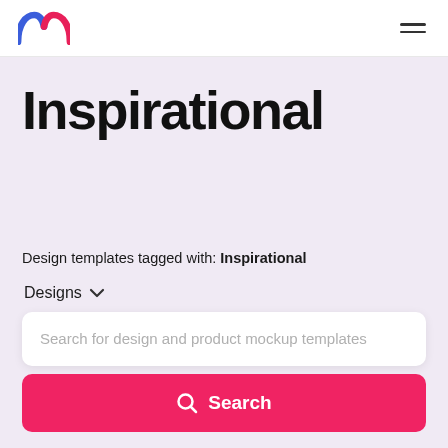Mango logo and navigation
Inspirational
Design templates tagged with: Inspirational
Designs ∨
Search for design and product mockup templates
Search